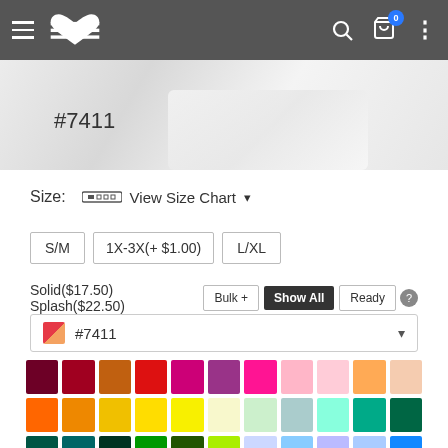[Figure (screenshot): E-commerce website navigation bar with hamburger menu, heart logo, search, cart with 0 badge, and more options dots]
[Figure (photo): Product image background (white/light gray fabric) with product SKU #7411]
#7411
Size:  View Size Chart ▼
S/M
1X-3X(+ $1.00)
L/XL
Solid($17.50) Splash($22.50)
Bulk +  Show All  Ready  ?
#7411
[Figure (infographic): Color selection grid showing rows of solid color swatches: row1: dark red, crimson, orange-brown, red, magenta, purple-magenta, hot pink, light pink, light pink2, peach-orange, peach; row2: orange, dark orange, gold, yellow, bright yellow, cream, light green, light teal, mint, teal, dark teal; row3: dark teal2, teal2, dark green, green, dark green2, lime green, light blue-lavender, sky blue, periwinkle, light blue, blue; row4: bright blue, royal blue, navy, lavender, medium purple, purple, dark purple, dark magenta, dark maroon, tan/beige, brown; row5 (partial): dark/black, cream2, gray swatches]